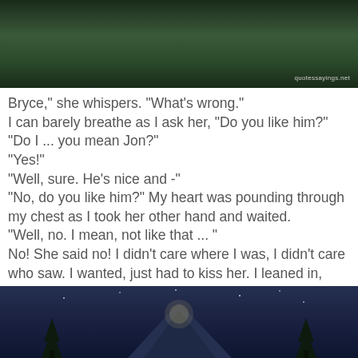[Figure (photo): Dark green forest/trees background image at top of page with quotesayings.net watermark]
Bryce," she whispers. "What's wrong."
I can barely breathe as I ask her, "Do you like him?"
"Do I ... you mean Jon?"
"Yes!"
"Well, sure. He's nice and -"
"No, do you like him?" My heart was pounding through my chest as I took her other hand and waited.
"Well, no. I mean, not like that ... "
No! She said no! I didn't care where I was, I didn't care who saw. I wanted, just had to kiss her. I leaned in, closed my eyes, and then ... — Wendelin Van Draanen
[Figure (photo): Dark night sky with trees and mountain/landscape at bottom of page]